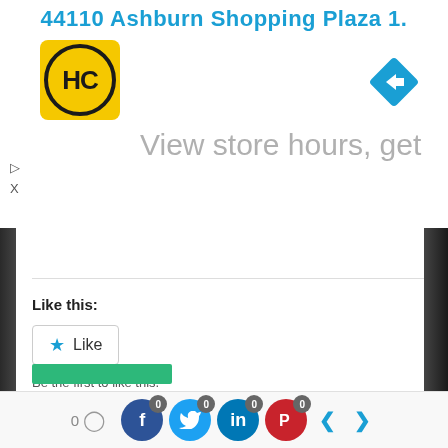[Figure (screenshot): Advertisement banner showing HC logo (yellow circle with HC letters), navigation turn icon (blue diamond with right arrow), text '44110 Ashburn Shopping Plaza 1.' in blue and 'View store hours, get directions...' in gray. Play and close controls on left.]
Like this:
[Figure (screenshot): Like button with blue star icon and 'Like' text, bordered rectangle button]
Be the first to like this.
Related
Git Tutorial 23 – Git Stash Apply – How To Solve Merge Conflict
0 [comment icon] [Facebook 0] [Twitter 0] [LinkedIn 0] [Pinterest 0] < >